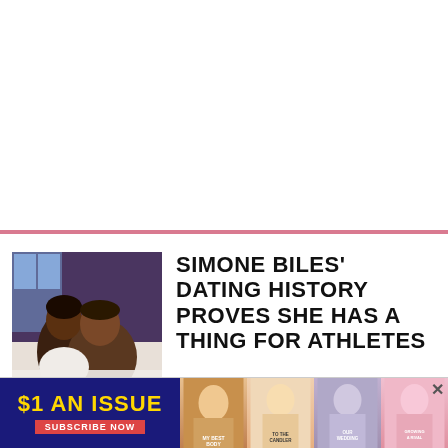[Figure (photo): Couple photo — a woman resting her head on a man's shoulder, indoors]
SIMONE BILES' DATING HISTORY PROVES SHE HAS A THING FOR ATHLETES
[Figure (infographic): Advertisement banner: $1 AN ISSUE / SUBSCRIBE NOW with magazine cover images]